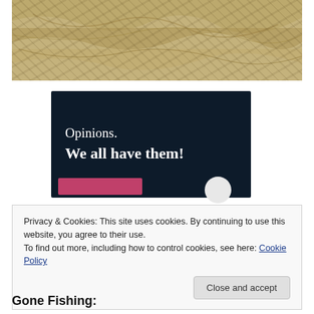[Figure (photo): Aerial or close-up photograph of murky, turbulent water with a sandy/brown color, showing swirling water patterns.]
[Figure (infographic): Dark navy blue advertisement banner with white serif text reading 'Opinions. We all have them!' with a pink button and a circular element at the bottom.]
Privacy & Cookies: This site uses cookies. By continuing to use this website, you agree to their use.
To find out more, including how to control cookies, see here: Cookie Policy
Close and accept
Gone Fishing: